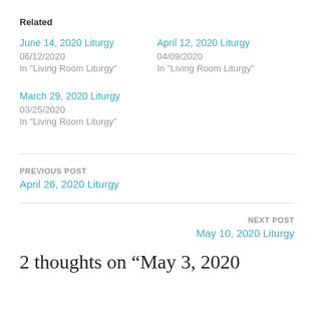Related
June 14, 2020 Liturgy
06/12/2020
In "Living Room Liturgy"
April 12, 2020 Liturgy
04/09/2020
In "Living Room Liturgy"
March 29, 2020 Liturgy
03/25/2020
In "Living Room Liturgy"
PREVIOUS POST
April 26, 2020 Liturgy
NEXT POST
May 10, 2020 Liturgy
2 thoughts on “May 3, 2020